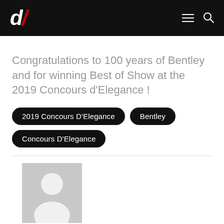d/ [logo] — navigation menu and search
Congratulations to 100 years of Bentley and for winning Best of Show at the 2019 Concours d’Elegance !
2019 Concours D'Elegance
Bentley
Concours D'Elegance
[Figure (illustration): Grey placeholder avatar silhouette image for author profile]
Alvin Reyes